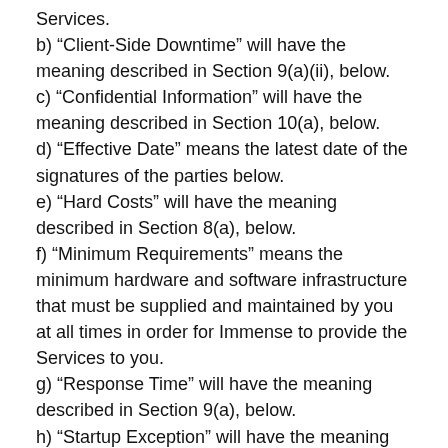Services.
b) “Client-Side Downtime” will have the meaning described in Section 9(a)(ii), below.
c) “Confidential Information” will have the meaning described in Section 10(a), below.
d) “Effective Date” means the latest date of the signatures of the parties below.
e) “Hard Costs” will have the meaning described in Section 8(a), below.
f) “Minimum Requirements” means the minimum hardware and software infrastructure that must be supplied and maintained by you at all times in order for Immense to provide the Services to you.
g) “Response Time” will have the meaning described in Section 9(a), below.
h) “Startup Exception” will have the meaning described in Section 9(b), below.